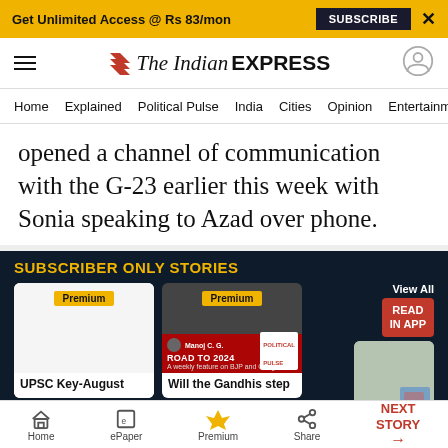Get Unlimited Access @ Rs 83/mon  SUBSCRIBE  X
The Indian EXPRESS
Home  Explained  Political Pulse  India  Cities  Opinion  Entertainment
opened a channel of communication with the G-23 earlier this week with Sonia speaking to Azad over phone.
SUBSCRIBER ONLY STORIES
View All  READ IN APP
[Figure (photo): Premium card 1 - blank white card for UPSC Key-August story]
UPSC Key-August
[Figure (photo): Premium card 2 - photo of people wearing masks with Road to 2024 overlay and Political Pulse banner]
Will the Gandhis step
[Figure (photo): Third card showing books/study materials - UPSC Essential story]
UPSC Essential
Home  ePaper  Premium  Share  NEXT STORY